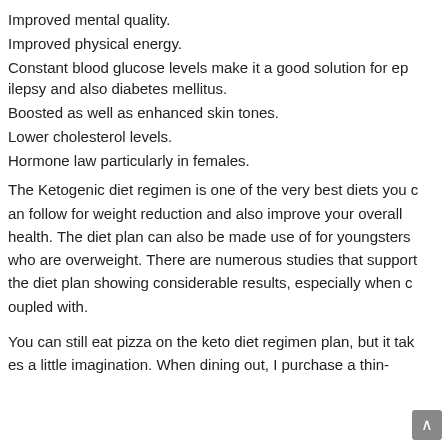Improved mental quality.
Improved physical energy.
Constant blood glucose levels make it a good solution for epilepsy and also diabetes mellitus.
Boosted as well as enhanced skin tones.
Lower cholesterol levels.
Hormone law particularly in females.
The Ketogenic diet regimen is one of the very best diets you can follow for weight reduction and also improve your overall health. The diet plan can also be made use of for youngsters who are overweight. There are numerous studies that support the diet plan showing considerable results, especially when coupled with.
You can still eat pizza on the keto diet regimen plan, but it takes a little imagination. When dining out, I purchase a thin-